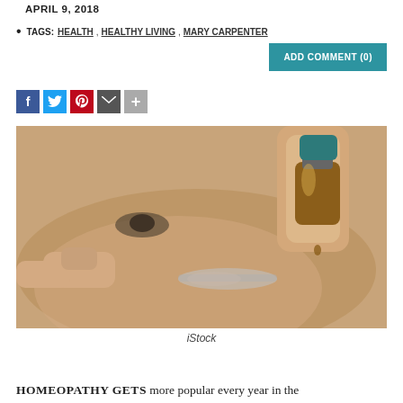APRIL 9, 2018
TAGS: HEALTH, HEALTHY LIVING, MARY CARPENTER
ADD COMMENT (0)
[Figure (photo): Close-up photo of a woman dropping liquid from a small amber dropper bottle onto a spoon, eyes focused intently; homeopathy remedy concept.]
iStock
HOMEOPATHY GETS more popular every year in the